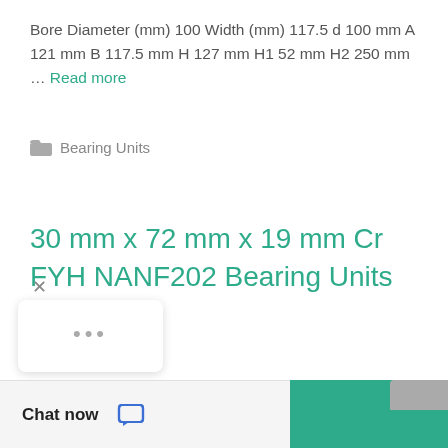Bore Diameter (mm) 100 Width (mm) 117.5 d 100 mm A 121 mm B 117.5 mm H 127 mm H1 52 mm H2 250 mm … Read more
Bearing Units
30 mm x 72 mm x 19 mm Cr FYH NANF202 Bearing Units
[Figure (screenshot): Chat widget overlay showing a close (×) button, a speech bubble with animated dots, a teal/green bar across the bottom, a 'Chat now' button with a chat icon, and a gray button]